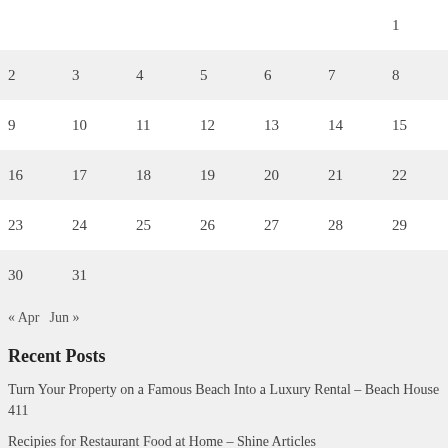| Sun | Mon | Tue | Wed | Thu | Fri | Sat |
| --- | --- | --- | --- | --- | --- | --- |
|  |  |  |  |  |  | 1 |
| 2 | 3 | 4 | 5 | 6 | 7 | 8 |
| 9 | 10 | 11 | 12 | 13 | 14 | 15 |
| 16 | 17 | 18 | 19 | 20 | 21 | 22 |
| 23 | 24 | 25 | 26 | 27 | 28 | 29 |
| 30 | 31 |  |  |  |  |  |
« Apr   Jun »
Recent Posts
Turn Your Property on a Famous Beach Into a Luxury Rental – Beach House 411
Recipies for Restaurant Food at Home – Shine Articles